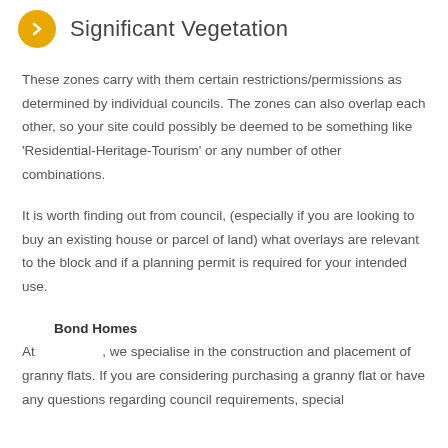Significant Vegetation
These zones carry with them certain restrictions/permissions as determined by individual councils. The zones can also overlap each other, so your site could possibly be deemed to be something like 'Residential-Heritage-Tourism' or any number of other combinations.
It is worth finding out from council, (especially if you are looking to buy an existing house or parcel of land) what overlays are relevant to the block and if a planning permit is required for your intended use.
Bond Homes At , we specialise in the construction and placement of granny flats. If you are considering purchasing a granny flat or have any questions regarding council requirements, special